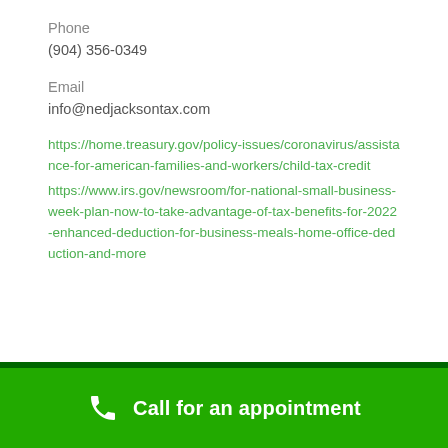Phone
(904) 356-0349
Email
info@nedjacksontax.com
https://home.treasury.gov/policy-issues/coronavirus/assistance-for-american-families-and-workers/child-tax-credit
https://www.irs.gov/newsroom/for-national-small-business-week-plan-now-to-take-advantage-of-tax-benefits-for-2022-enhanced-deduction-for-business-meals-home-office-deduction-and-more
Call for an appointment